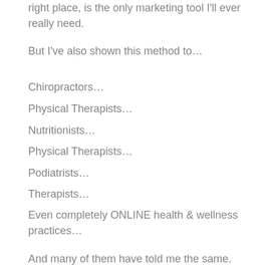right place, is the only marketing tool I'll ever really need.
But I've also shown this method to…
Chiropractors…
Physical Therapists…
Nutritionists…
Physical Therapists…
Podiatrists…
Therapists…
Even completely ONLINE health & wellness practices…
And many of them have told me the same.
The best is the practice is it...